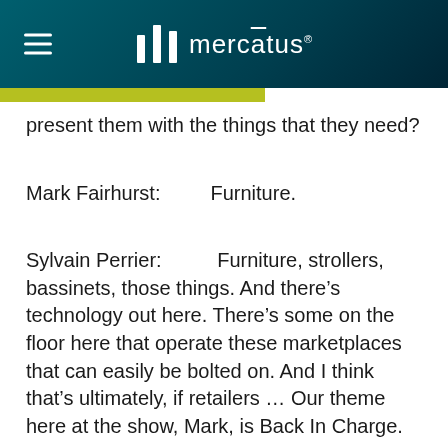[Figure (logo): Mercatus logo on dark teal header background with hamburger menu icon on left]
present them with the things that they need?
Mark Fairhurst:        Furniture.
Sylvain Perrier:         Furniture, strollers, bassinets, those things. And there's technology out here. There's some on the floor here that operate these marketplaces that can easily be bolted on. And I think that's ultimately, if retailers … Our theme here at the show, Mark, is Back In Charge.
Mark Fairhurst:        We're helping grocers